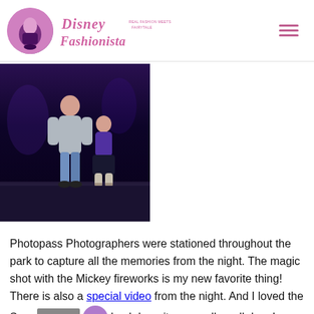Disney Fashionista
[Figure (photo): Two people standing on a dark stage, one taller in jeans and a grey hoodie, one shorter in a dark skirt with light boots, against a dark purple/black background with stage lighting]
Photopass Photographers were stationed throughout the park to capture all the memories from the night. The magic shot with the Mickey fireworks is my new favorite thing! There is also a special video from the night. And I loved the Scar backdrop; it was really well done!